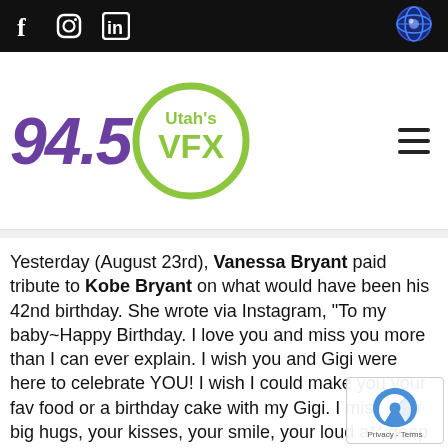Social media icons bar with Facebook, Instagram, LinkedIn icons and a globe/eye icon on the right
[Figure (logo): 94.5 Utah's VFX radio station logo — purple bold italic '94.5' with green circle containing 'Utah’s VFX' text]
Yesterday (August 23rd), Vanessa Bryant paid tribute to Kobe Bryant on what would have been his 42nd birthday. She wrote via Instagram, “To my baby~Happy Birthday. I love you and miss you more than I can ever explain. I wish you and Gigi were here to celebrate YOU! I wish I could make you your fav food or a birthday cake with my Gigi. I miss your big hugs, your kisses, your smile, your loud a** deep laugh. I miss teasing y making you laugh and bursting your bubble. I sitting on my lap like my big baby you are.”